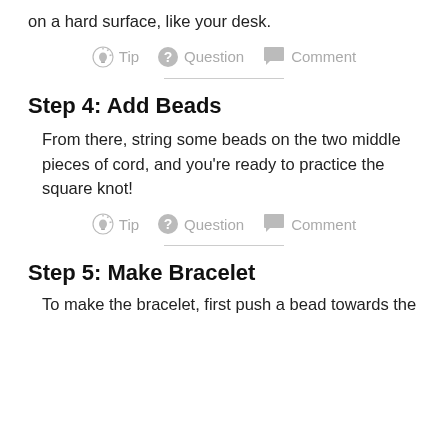on a hard surface, like your desk.
Tip  Question  Comment
Step 4: Add Beads
From there, string some beads on the two middle pieces of cord, and you're ready to practice the square knot!
Tip  Question  Comment
Step 5: Make Bracelet
To make the bracelet, first push a bead towards the